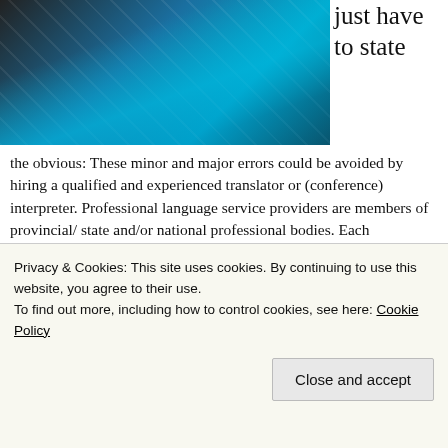[Figure (photo): Photo of an escalator or angled structure with blue and dark tones, partial view at top of page. To the right of the photo, partial text reading 'just have to state']
just have to state the obvious: These minor and major errors could be avoided by hiring a qualified and experienced translator or (conference) interpreter. Professional language service providers are members of provincial/ state and/or national professional bodies. Each professional association has an online directory to easily find someone by language combination. In North America they usually have a designation like “Certified Translator” or “Certified Conference Interpreter.” They can help you communicate more effectively in the foreign language, because they “know their stuff.”
Privacy & Cookies: This site uses cookies. By continuing to use this website, you agree to their use.
To find out more, including how to control cookies, see here: Cookie Policy
Close and accept